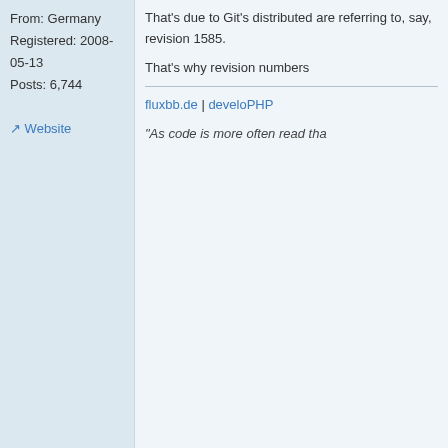From: Germany
Registered: 2008-05-13
Posts: 6,744
Website
That's due to Git's distributed are referring to, say, revision 1585.

That's why revision numbers

fluxbb.de | develoPHP

"As code is more often read tha
Offline
Paul
2010-05-06 11:03:42
Developer
From: Wales, UK
Registered: 2008-04-27
Posts: 1,653
Offline
Fair enough. They could hav labelling a commit as Franz(3

The only thing worse than findin
Franz
2010-05-06 11:18:48